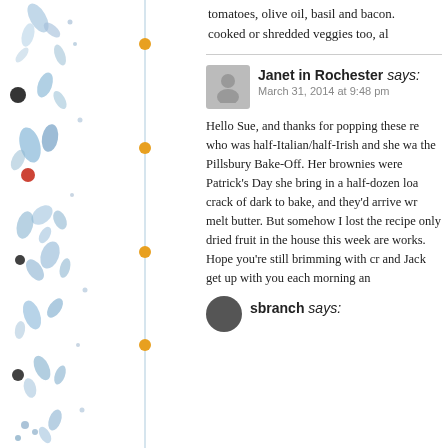tomatoes, olive oil, basil and bacon. cooked or shredded veggies too, al
Janet in Rochester says:
March 31, 2014 at 9:48 pm

Hello Sue, and thanks for popping these re who was half-Italian/half-Irish and she wa the Pillsbury Bake-Off. Her brownies were Patrick's Day she bring in a half-dozen loa crack of dark to bake, and they'd arrive wr melt butter. But somehow I lost the recipe only dried fruit in the house this week are works. Hope you're still brimming with cr and Jack get up with you each morning an
sbranch says: